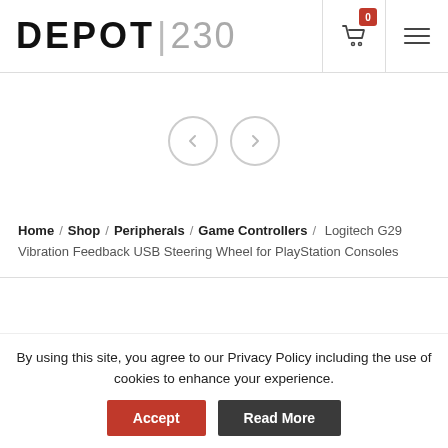[Figure (logo): Depot 230 logo — stylized text 'DEPOT|230' with bold black DEPOT and gray 230]
[Figure (other): Shopping cart icon with red badge showing 0, and hamburger menu icon]
[Figure (other): Carousel navigation: left arrow circle and right arrow circle]
Home / Shop / Peripherals / Game Controllers / Logitech G29 Vibration Feedback USB Steering Wheel for PlayStation Consoles
By using this site, you agree to our Privacy Policy including the use of cookies to enhance your experience.
Accept
Read More